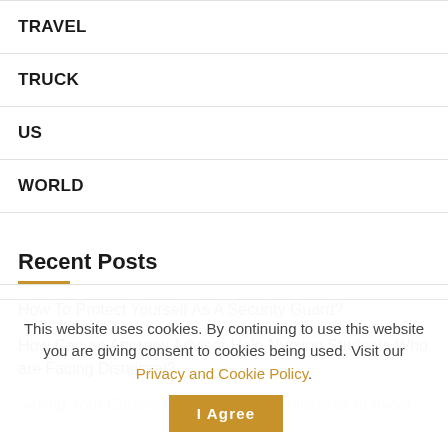TRAVEL
TRUCK
US
WORLD
Recent Posts
How To Protect Yourself As A Security Guard?
How Can an Attorney Advisor Help Nursing Students Who are Facing Dismissal?
Selling Your Classic Body 4 Common Mistakes to Avoid
This website uses cookies. By continuing to use this website you are giving consent to cookies being used. Visit our Privacy and Cookie Policy.